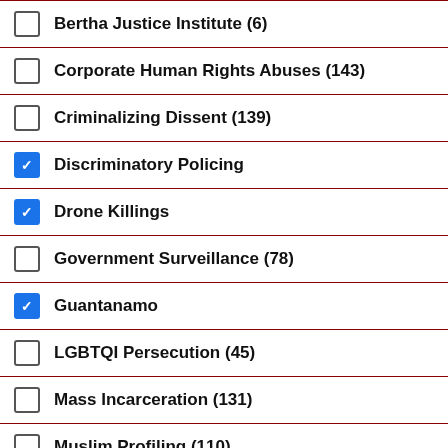Bertha Justice Institute (6)
Corporate Human Rights Abuses (143)
Criminalizing Dissent (139)
Discriminatory Policing
Drone Killings
Government Surveillance (78)
Guantanamo
LGBTQI Persecution (45)
Mass Incarceration (131)
Muslim Profiling (110)